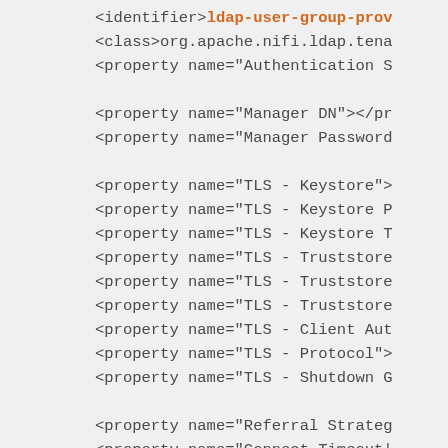<identifier>ldap-user-group-prov
<class>org.apache.nifi.ldap.tena
<property name="Authentication S

<property name="Manager DN"></pr
<property name="Manager Password

<property name="TLS - Keystore">
<property name="TLS - Keystore P
<property name="TLS - Keystore T
<property name="TLS - Truststore
<property name="TLS - Truststore
<property name="TLS - Truststore
<property name="TLS - Client Aut
<property name="TLS - Protocol">
<property name="TLS - Shutdown G

<property name="Referral Strateg
<property name="Connect Timeout|